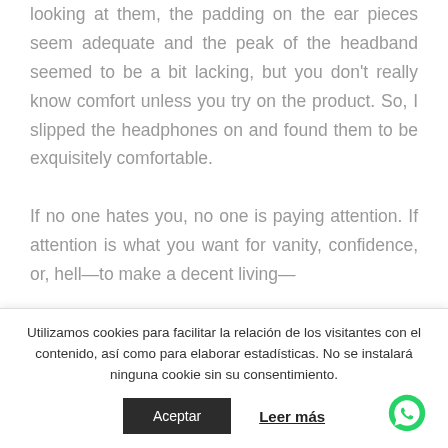have a classic over the ear style and just looking at them, the padding on the ear pieces seem adequate and the peak of the headband seemed to be a bit lacking, but you don't really know comfort unless you try on the product. So, I slipped the headphones on and found them to be exquisitely comfortable.

If no one hates you, no one is paying attention. If attention is what you want for vanity, confidence, or, hell—to make a decent living—
Utilizamos cookies para facilitar la relación de los visitantes con el contenido, así como para elaborar estadísticas. No se instalará ninguna cookie sin su consentimiento.